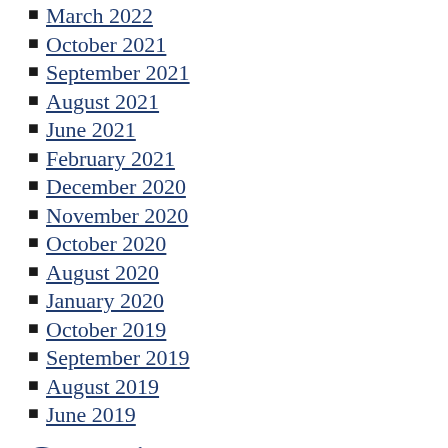March 2022
October 2021
September 2021
August 2021
June 2021
February 2021
December 2020
November 2020
October 2020
August 2020
January 2020
October 2019
September 2019
August 2019
June 2019
Categories
Uncategorized
Meta